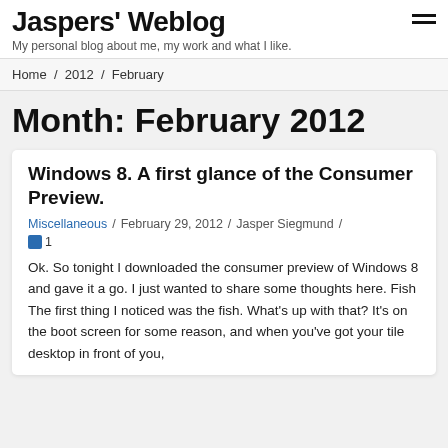Jaspers' Weblog
My personal blog about me, my work and what I like.
Home / 2012 / February
Month: February 2012
Windows 8. A first glance of the Consumer Preview.
Miscellaneous / February 29, 2012 / Jasper Siegmund / 1
Ok. So tonight I downloaded the consumer preview of Windows 8 and gave it a go. I just wanted to share some thoughts here. Fish The first thing I noticed was the fish. What's up with that? It's on the boot screen for some reason, and when you've got your tile desktop in front of you,